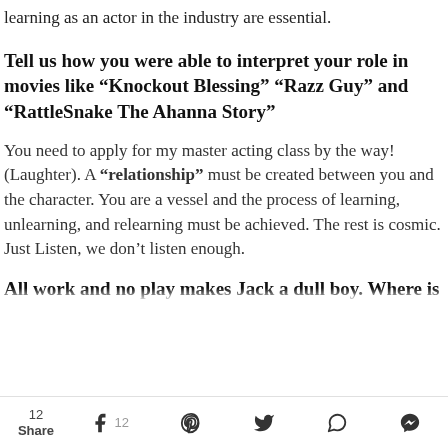learning as an actor in the industry are essential.
Tell us how you were able to interpret your role in movies like “Knockout Blessing” “Razz Guy” and “RattleSnake The Ahanna Story”
You need to apply for my master acting class by the way! (Laughter). A “relationship” must be created between you and the character. You are a vessel and the process of learning, unlearning, and relearning must be achieved. The rest is cosmic. Just Listen, we don’t listen enough.
All work and no play makes Jack a dull boy. Where is
12 Share  12